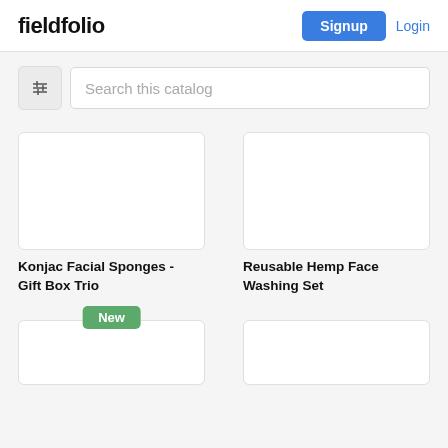fieldfolio
Signup
Login
Search this catalog
[Figure (screenshot): Product card for Konjac Facial Sponges - Gift Box Trio, white empty card]
Konjac Facial Sponges - Gift Box Trio
[Figure (screenshot): Product card for Reusable Hemp Face Washing Set, white empty card]
Reusable Hemp Face Washing Set
[Figure (screenshot): Second row left product card with New badge, white empty card]
[Figure (screenshot): Second row right product card, white empty card]